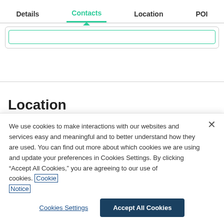Details  Contacts  Location  POI
Location
We use cookies to make interactions with our websites and services easy and meaningful and to better understand how they are used. You can find out more about which cookies we are using and update your preferences in Cookies Settings. By clicking “Accept All Cookies,” you are agreeing to our use of cookies. Cookie Notice
Cookies Settings
Accept All Cookies